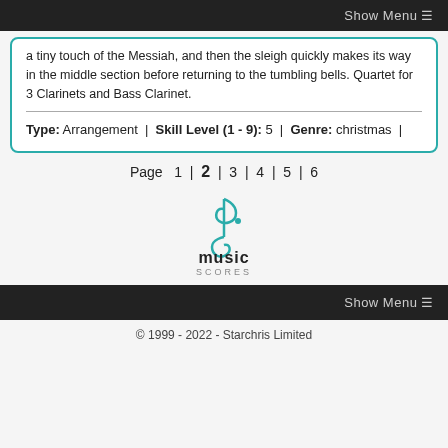Show Menu ≡
a tiny touch of the Messiah, and then the sleigh quickly makes its way in the middle section before returning to the tumbling bells. Quartet for 3 Clarinets and Bass Clarinet.
Type: Arrangement | Skill Level (1 - 9): 5 | Genre: christmas |
Page 1 | 2 | 3 | 4 | 5 | 6
[Figure (logo): music scores logo with teal treble/bass clef symbol above text 'music SCORES']
Show Menu ≡
© 1999 - 2022 - Starchris Limited